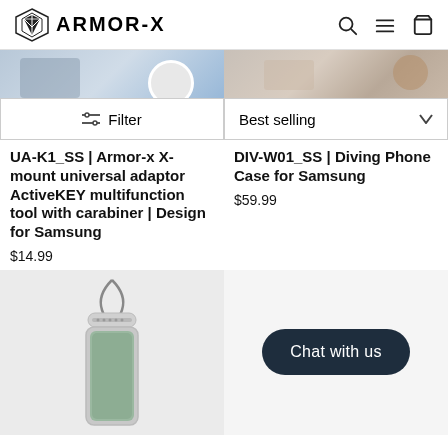ARMOR-X
[Figure (screenshot): Partial product images row showing two product thumbnails cropped at top]
Filter | Best selling
UA-K1_SS | Armor-x X-mount universal adaptor ActiveKEY multifunction tool with carabiner | Design for Samsung
$14.99
DIV-W01_SS | Diving Phone Case for Samsung
$59.99
[Figure (photo): Diving phone case with lanyard hanging, showing phone inside waterproof case]
Chat with us